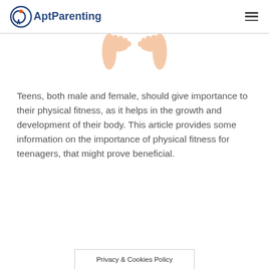AptParenting
[Figure (photo): Cropped photo showing the feet/toes of a child or teen, visible from below the knees, on a white background.]
Teens, both male and female, should give importance to their physical fitness, as it helps in the growth and development of their body. This article provides some information on the importance of physical fitness for teenagers, that might prove beneficial.
Privacy & Cookies Policy